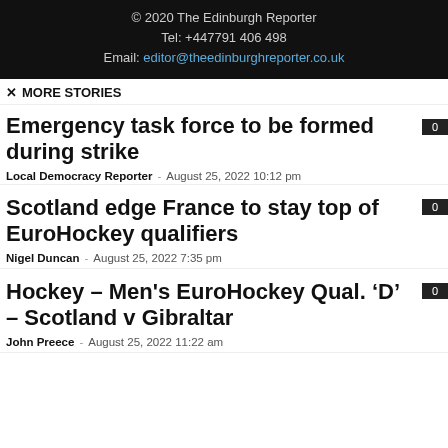© 2020 The Edinburgh Reporter
Tel: +447791 406 498
Email: editor@theedinburghreporter.co.uk
✕ MORE STORIES
Emergency task force to be formed during strike
Local Democracy Reporter - August 25, 2022 10:12 pm
Scotland edge France to stay top of EuroHockey qualifiers
Nigel Duncan - August 25, 2022 7:35 pm
Hockey – Men's EuroHockey Qual. 'D' – Scotland v Gibraltar
John Preece - August 25, 2022 11:22 am